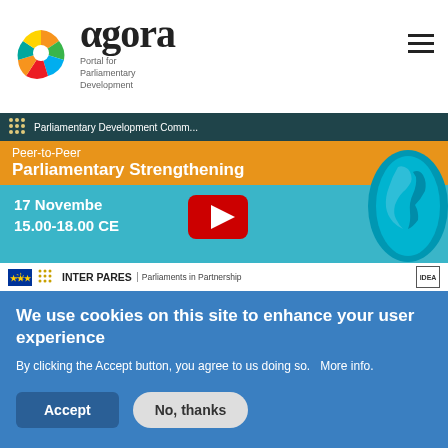agora - Portal for Parliamentary Development
[Figure (screenshot): YouTube video thumbnail showing 'Parliamentary Development Comm... Peer-to-Peer Parliamentary Strengthening' event on 17 November 15.00-18.00 CET, with globe graphic, play button, and INTER PARES | Parliaments in Partnership banner at the bottom]
We use cookies on this site to enhance your user experience
By clicking the Accept button, you agree to us doing so.   More info.
Accept
No, thanks